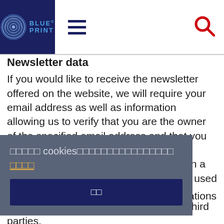[Figure (logo): Blue Print automotive brand logo with fingerprint graphic and hamburger menu icon and red search icon]
Newsletter data
If you would like to receive the newsletter offered on the website, we will require your email address as well as information allowing us to verify that you are the owner of the specified email address and that you have agreed to receive the newsletter. Additional data shall only be collected on a voluntary basis or not at all. This data is used exclusively to send the requested information and will not be shared with third parties.
bscription form is icle 6(1)(a) GDPR). storage of data, your ng of the newsletter the newsletter. The lawfulness of any data processing operations already carried
Cookie overlay with text and confirm button